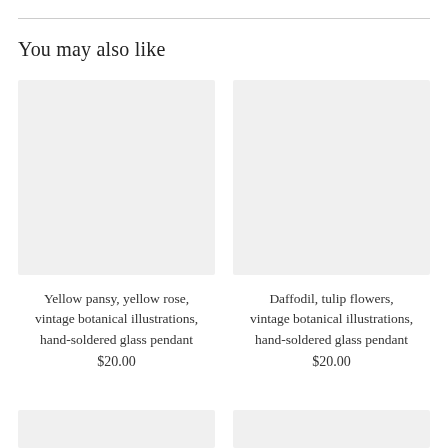You may also like
[Figure (photo): Gray placeholder image for product 1 (Yellow pansy, yellow rose)]
Yellow pansy, yellow rose, vintage botanical illustrations, hand-soldered glass pendant
$20.00
[Figure (photo): Gray placeholder image for product 2 (Daffodil, tulip flowers)]
Daffodil, tulip flowers, vintage botanical illustrations, hand-soldered glass pendant
$20.00
[Figure (photo): Gray placeholder image bottom left (partially visible)]
[Figure (photo): Gray placeholder image bottom right (partially visible)]